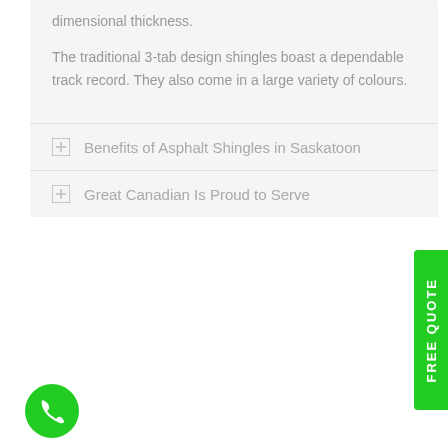dimensional thickness.
The traditional 3-tab design shingles boast a dependable track record. They also come in a large variety of colours.
Benefits of Asphalt Shingles in Saskatoon
Great Canadian Is Proud to Serve